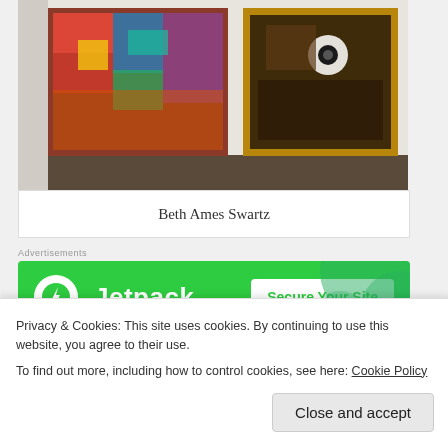[Figure (photo): Gallery wall with two large abstract paintings — a colorful mixed-media artwork on the left and a dark golden-framed painting on the right, displayed on a white wall with dark floor visible]
Beth Ames Swartz
Advertisements
[Figure (screenshot): Jetpack advertisement banner with green background, Jetpack logo (white circle with lightning bolt), 'Jetpack' text, and 'Secure Your Site' white button]
REPORT THIS AD
Beth Ames Swartz is a committed feminist since 1963 and has periodically implemented feminist ideals into her work, which
Privacy & Cookies: This site uses cookies. By continuing to use this website, you agree to their use.
To find out more, including how to control cookies, see here: Cookie Policy
Close and accept